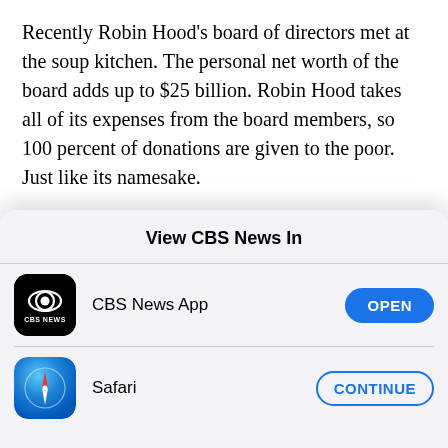Recently Robin Hood's board of directors met at the soup kitchen. The personal net worth of the board adds up to $25 billion. Robin Hood takes all of its expenses from the board members, so 100 percent of donations are given to the poor. Just like its namesake.
Paul Tudor Jones: If you said to me what part of our [cut off]
View CBS News In
[Figure (logo): CBS News App icon — black rounded square with CBS eye logo and CBS NEWS text]
CBS News App
OPEN
[Figure (logo): Safari browser icon — blue gradient circle with compass/arrow logo]
Safari
CONTINUE